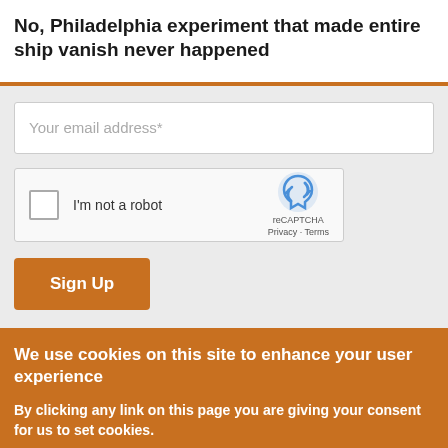No, Philadelphia experiment that made entire ship vanish never happened
[Figure (screenshot): Email signup form with email input field, reCAPTCHA checkbox widget saying 'I'm not a robot', and an orange Sign Up button on a light gray background]
Your email address*
I'm not a robot
reCAPTCHA
Privacy · Terms
Sign Up
We use cookies on this site to enhance your user experience
By clicking any link on this page you are giving your consent for us to set cookies.
Accept